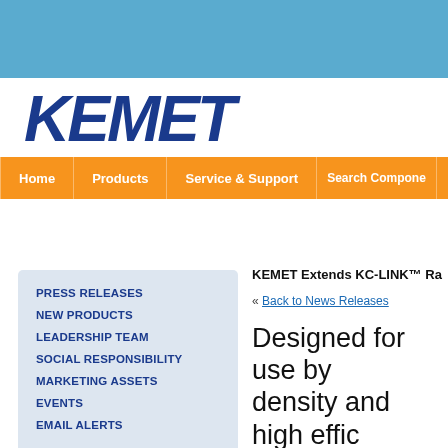[Figure (logo): KEMET company logo in bold italic dark blue letters]
Home | Products | Service & Support | Search Components
PRESS RELEASES
NEW PRODUCTS
LEADERSHIP TEAM
SOCIAL RESPONSIBILITY
MARKETING ASSETS
EVENTS
EMAIL ALERTS
KEMET Extends KC-LINK™ Ra...
« Back to News Releases
Designed for use by... density and high effic...